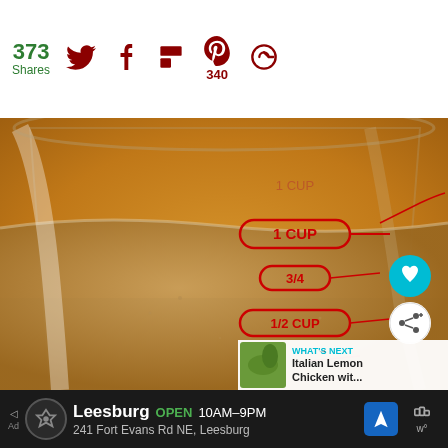373 Shares — social share bar with Twitter, Facebook, Flipboard, Pinterest (340), and another icon
[Figure (photo): Close-up photo of a glass measuring cup filled with brown liquid (broth/stock), showing red measurement markings: 1 CUP, 3/4, 1/2 CUP, 1/4 inscribed on the glass. Warm orange-brown background.]
WHAT'S NEXT → Italian Lemon Chicken wit…
Leesburg OPEN 10AM–9PM 241 Fort Evans Rd NE, Leesburg